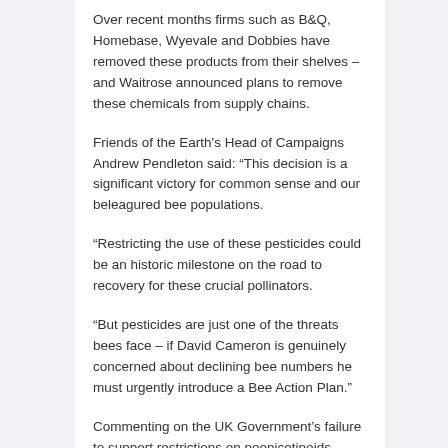Over recent months firms such as B&Q, Homebase, Wyevale and Dobbies have removed these products from their shelves – and Waitrose announced plans to remove these chemicals from supply chains.
Friends of the Earth's Head of Campaigns Andrew Pendleton said: “This decision is a significant victory for common sense and our beleagured bee populations.
“Restricting the use of these pesticides could be an historic milestone on the road to recovery for these crucial pollinators.
“But pesticides are just one of the threats bees face – if David Cameron is genuinely concerned about declining bee numbers he must urgently introduce a Bee Action Plan.”
Commenting on the UK Government’s failure to support restrictions on neonicotinoids, Andrew